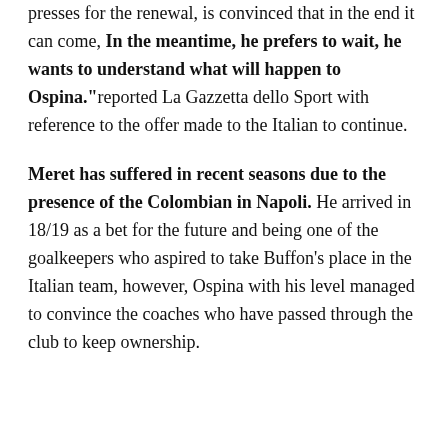presses for the renewal, is convinced that in the end it can come, In the meantime, he prefers to wait, he wants to understand what will happen to Ospina."reported La Gazzetta dello Sport with reference to the offer made to the Italian to continue.
Meret has suffered in recent seasons due to the presence of the Colombian in Napoli. He arrived in 18/19 as a bet for the future and being one of the goalkeepers who aspired to take Buffon's place in the Italian team, however, Ospina with his level managed to convince the coaches who have passed through the club to keep ownership.